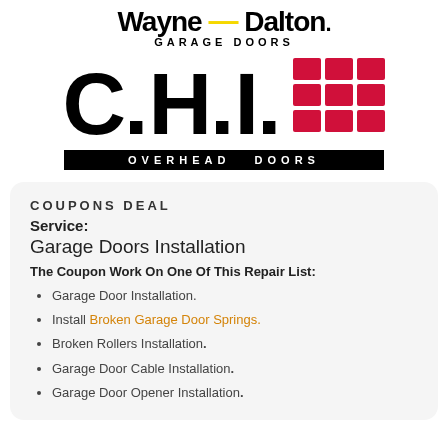[Figure (logo): Wayne Dalton Garage Doors logo with yellow dash separator]
[Figure (logo): C.H.I. Overhead Doors logo with red 3x3 grid icon and black bar]
COUPONS DEAL
Service:
Garage Doors Installation
The Coupon Work On One Of This Repair List:
Garage Door Installation.
Install Broken Garage Door Springs.
Broken Rollers Installation.
Garage Door Cable Installation.
Garage Door Opener Installation.